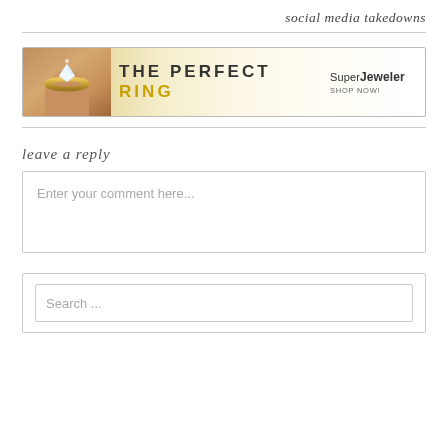social media takedowns
[Figure (illustration): Advertisement banner for SuperJeweler showing a diamond ring on a finger with text 'THE PERFECT RING' and 'SuperJeweler SHOP NOW!']
leave a reply
Enter your comment here...
Search ...